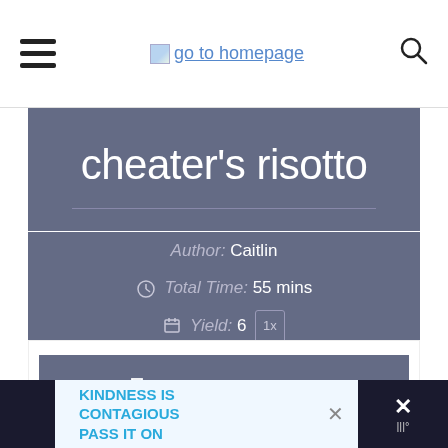go to homepage
cheater's risotto
Author: Caitlin
Total Time: 55 mins
Yield: 6 1x
PRINT RECIPE
KINDNESS IS CONTAGIOUS PASS IT ON